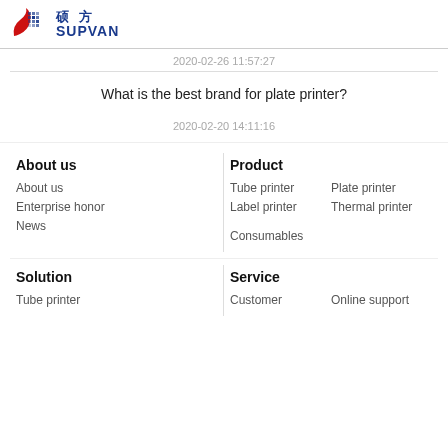硕方 SUPVAN
2020-02-26 11:57:27
What is the best brand for plate printer?
2020-02-20 14:11:16
About us
About us
Enterprise honor
News
Product
Tube printer
Plate printer
Label printer
Thermal printer
Consumables
Solution
Tube printer
Service
Customer
Online support